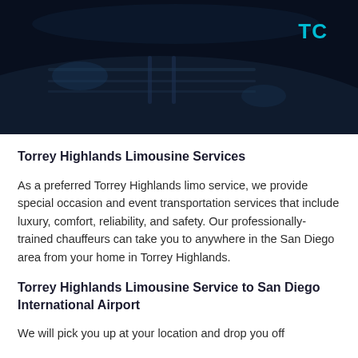[Figure (photo): Dark blue/navy hero image showing the front grille and hood of a luxury vehicle at night, with partial 'TC' text visible in teal/cyan color in the upper right corner.]
Torrey Highlands Limousine Services
As a preferred Torrey Highlands limo service, we provide special occasion and event transportation services that include luxury, comfort, reliability, and safety. Our professionally-trained chauffeurs can take you to anywhere in the San Diego area from your home in Torrey Highlands.
Torrey Highlands Limousine Service to San Diego International Airport
We will pick you up at your location and drop you off